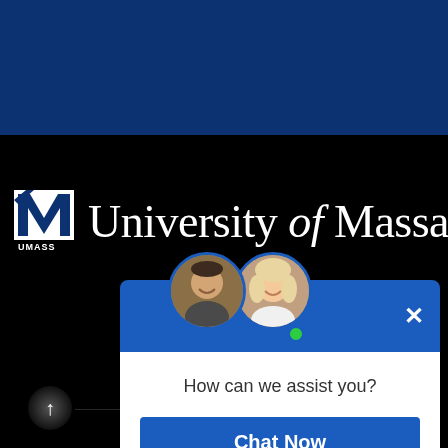[Figure (screenshot): University of Massachusetts website screenshot showing dark blue top banner, UMass logo and wordmark on black background, social media icons, and a live chat popup widget with two advisor avatars, 'How can we assist you?' message, and a 'Chat Now' button]
University of Massachusetts
How can we assist you?
Chat Now